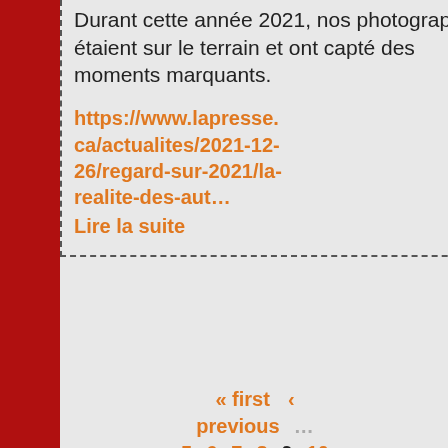Durant cette année 2021, nos photographes étaient sur le terrain et ont capté des moments marquants.
https://www.lapresse.ca/actualites/2021-12-26/regard-sur-2021/la-realite-des-aut… Lire la suite
« first ‹ previous … 5 6 7 8 9 10 11 12 13 … suivant › dernier »